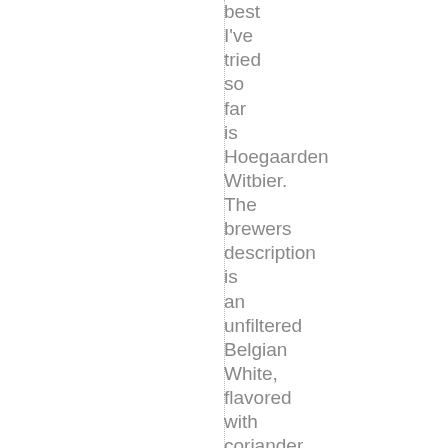best I've tried so far is Hoegaarden Witbier. The brewers description is an unfiltered Belgian White, flavored with coriander and orange peel, creating a sweet & sour